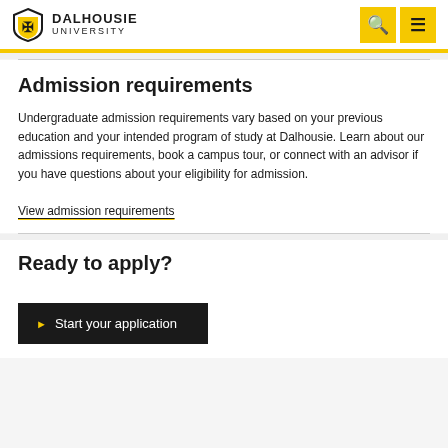Dalhousie University
Admission requirements
Undergraduate admission requirements vary based on your previous education and your intended program of study at Dalhousie. Learn about our admissions requirements, book a campus tour, or connect with an advisor if you have questions about your eligibility for admission.
View admission requirements
Ready to apply?
Start your application